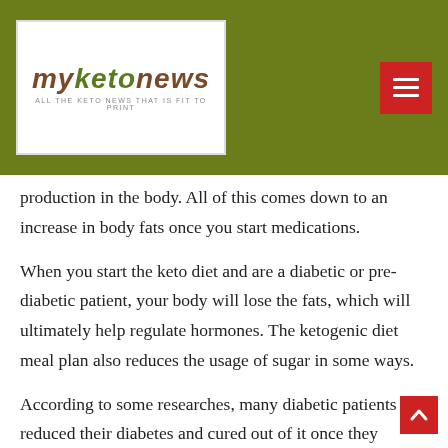MyKetoNews — ALL THE KETO NEWS THAT IS FIT TO PRINT
production in the body. All of this comes down to an increase in body fats once you start medications.
When you start the keto diet and are a diabetic or pre-diabetic patient, your body will lose the fats, which will ultimately help regulate hormones. The ketogenic diet meal plan also reduces the usage of sugar in some ways.
According to some researches, many diabetic patients reduced their diabetes and cured out of it once they started following the ketogenic diet meal plan. So, all in all, the keto diet is a success for diabetics, other people who want to lose fat or maintain their body weight. However, it is not